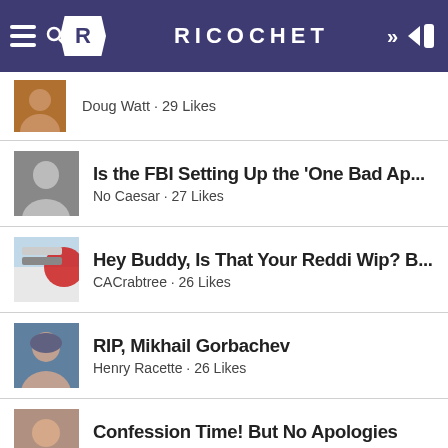RICOCHET
Doug Watt · 29 Likes
Is the FBI Setting Up the 'One Bad Ap... | No Caesar · 27 Likes
Hey Buddy, Is That Your Reddi Wip? B... | CACrabtree · 26 Likes
RIP, Mikhail Gorbachev | Henry Racette · 26 Likes
Confession Time! But No Apologies | Kelly D Johnston · 25 Likes
27 Boxes | Front Seat Cat · 25 Likes